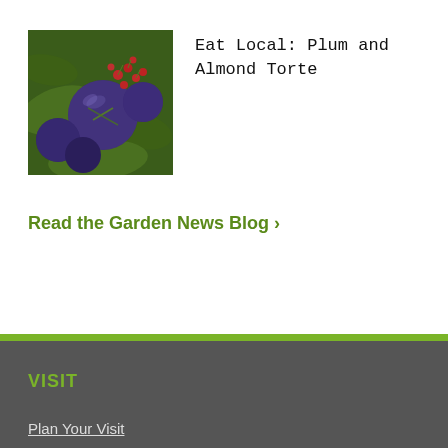[Figure (photo): Close-up photo of dark purple/blue plums and red berries with green leaves]
Eat Local: Plum and Almond Torte
Read the Garden News Blog ›
VISIT
Plan Your Visit